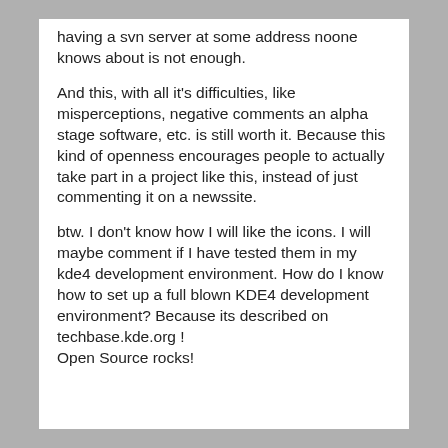having a svn server at some address noone knows about is not enough.
And this, with all it's difficulties, like misperceptions, negative comments an alpha stage software, etc. is still worth it. Because this kind of openness encourages people to actually take part in a project like this, instead of just commenting it on a newssite.
btw. I don't know how I will like the icons. I will maybe comment if I have tested them in my kde4 development environment. How do I know how to set up a full blown KDE4 development environment? Because its described on techbase.kde.org ! Open Source rocks!